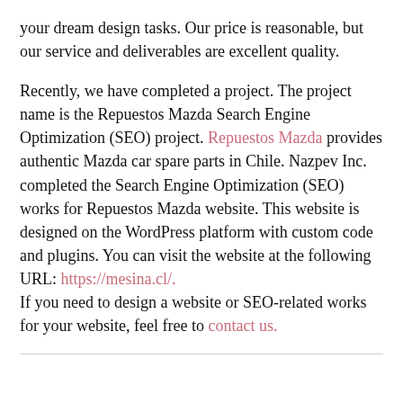your dream design tasks. Our price is reasonable, but our service and deliverables are excellent quality.
Recently, we have completed a project. The project name is the Repuestos Mazda Search Engine Optimization (SEO) project. Repuestos Mazda provides authentic Mazda car spare parts in Chile. Nazpev Inc. completed the Search Engine Optimization (SEO) works for Repuestos Mazda website. This website is designed on the WordPress platform with custom code and plugins. You can visit the website at the following URL: https://mesina.cl/.
If you need to design a website or SEO-related works for your website, feel free to contact us.